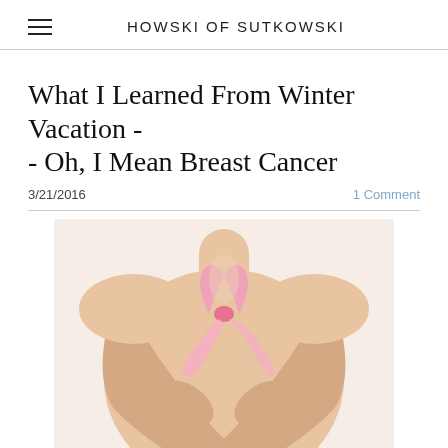HOWSKI OF SUTKOWSKI
What I Learned From Winter Vacation -- Oh, I Mean Breast Cancer
3/21/2016
1 Comment
[Figure (photo): A woman with arms crossed over her chest holding a pink breast cancer awareness ribbon, torso only visible, white background.]
Shutterstock